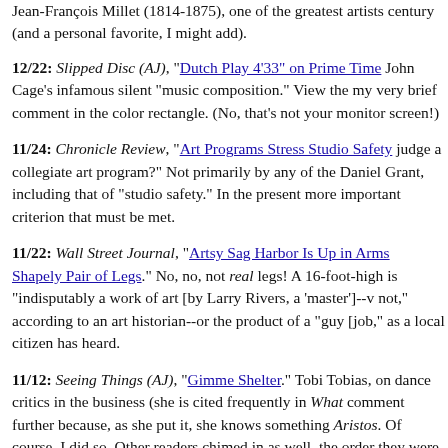Jean-François Millet (1814-1875), one of the greatest artists century (and a personal favorite, I might add).
12/22: Slipped Disc (AJ), "Dutch Play 4'33" on Prime Time" John Cage's infamous silent "music composition." View the my very brief comment in the color rectangle. (No, that's not your monitor screen!)
11/24: Chronicle Review, "Art Programs Stress Studio Safety judge a collegiate art program?" Not primarily by any of the Daniel Grant, including that of "studio safety." In the present more important criterion that must be met.
11/22: Wall Street Journal, "Artsy Sag Harbor Is Up in Arms Shapely Pair of Legs." No, no, not real legs! A 16-foot-high is "indisputably a work of art [by Larry Rivers, a 'master']--v not," according to an art historian--or the product of a "guy [ job," as a local citizen has heard.
11/12: Seeing Things (AJ), "Gimme Shelter." Tobi Tobias, on dance critics in the business (she is cited frequently in What comment further because, as she put it, she knows something Aristos. Of course, I did so. Other readers chimed in as well. the order they were posted, from the bottom up.)